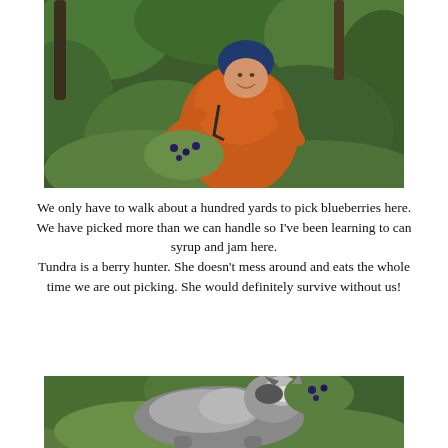[Figure (photo): Person in orange hoodie and blue beanie hat crouching and picking berries in a dense green forest/bush setting, smiling at camera]
We only have to walk about a hundred yards to pick blueberries here. We have picked more than we can handle so I've been learning to can syrup and jam here.
Tundra is a berry hunter. She doesn't mess around and eats the whole time we are out picking. She would definitely survive without us!
[Figure (photo): A large dog (husky type) with grey and white fur picking or sniffing at berries in a bush with green foliage]